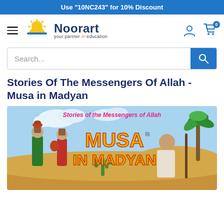Use "10NC243" for 10% Discount
[Figure (logo): Noorart logo with sun icon and tagline 'your partner in education']
Search...
Stories Of The Messengers Of Allah - Musa in Madyan
[Figure (illustration): Book cover illustration for 'Musa in Madyan' from the Stories of the Messengers of Allah series, showing cartoon figures in a desert setting with palm trees, sand dunes, and cacti. Title text reads 'Stories of the Messengers of Allah' and 'MUSA IN MADYAN' in large orange letters.]